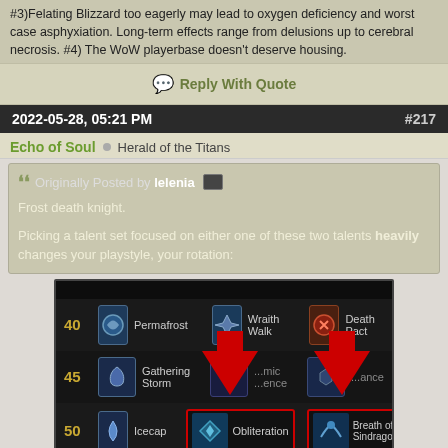#3)Felating Blizzard too eagerly may lead to oxygen deficiency and worst case asphyxiation. Long-term effects range from delusions up to cerebral necrosis. #4) The WoW playerbase doesn't deserve housing.
Reply With Quote
2022-05-28, 05:21 PM   #217
Echo of Soul  Herald of the Titans
Originally Posted by lelenia
Frost death knight.

Picking a talent set focused on either one of these two talents heavily changes your playstyle, your rotation:
[Figure (screenshot): World of Warcraft talent tree screenshot showing rows 40, 45, and 50 with talents: Permafrost, Wraith Walk, Death Pact (row 40); Gathering Storm, Cosmic Silence(?), Resonance (row 45); Icecap, Obliteration (highlighted red), Breath of Sindragosa (highlighted red) (row 50). Two large red arrows point down to Obliteration and Breath of Sindragosa.]
[Figure (photo): Victoria's Secret advertisement banner: woman with curly hair on left, pink background, 'SHOP THE COLLECTION' text, 'SHOP NOW' button, Victoria's Secret logo.]
Not t... eapons, while...